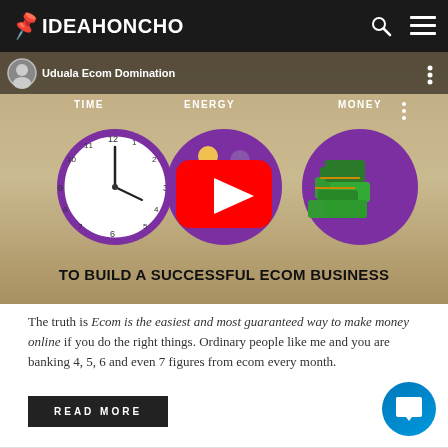IDEAHONCHO
[Figure (screenshot): YouTube video thumbnail for 'Uduala Ecom Domination' showing TIME (clock circle), ENERGY (people circle), MONEY (cash circle), YouTube play button, and text 'TO BUILD A SUCCESSFUL ECOM BUSINESS']
The truth is Ecom is the easiest and most guaranteed way to make money online if you do the right things. Ordinary people like me and you are banking 4, 5, 6 and even 7 figures from ecom every month.
READ MORE